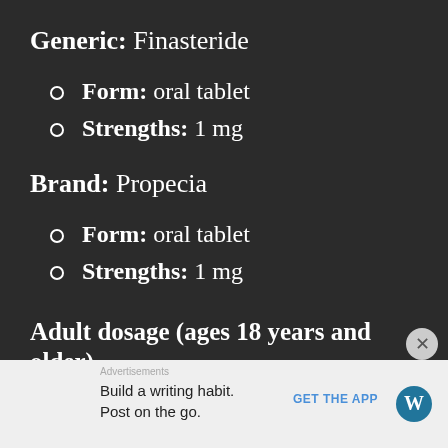Generic: Finasteride
Form: oral tablet
Strengths: 1 mg
Brand: Propecia
Form: oral tablet
Strengths: 1 mg
Adult dosage (ages 18 years and older)
Advertisements
Build a writing habit.
Post on the go.
GET THE APP